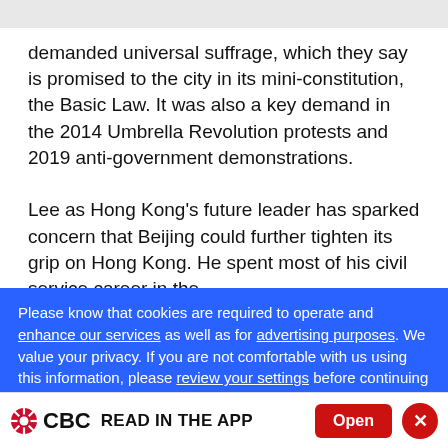demanded universal suffrage, which they say is promised to the city in its mini-constitution, the Basic Law. It was also a key demand in the 2014 Umbrella Revolution protests and 2019 anti-government demonstrations.
Lee as Hong Kong's future leader has sparked concern that Beijing could further tighten its grip on Hong Kong. He spent most of his civil service career in the
Please know that cookies are required to operate and enhance our services as well as for advertising purposes. We value your privacy. If you are not comfortable with us using this information, please review your settings before continuing your visit.
CBC READ IN THE APP  Open